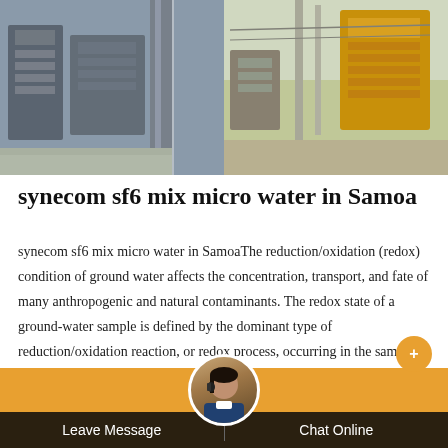[Figure (photo): Industrial equipment photo showing pipes, valves, and machinery at a water treatment or utility facility, split into two panels side by side]
synecom sf6 mix micro water in Samoa
synecom sf6 mix micro water in SamoaThe reduction/oxidation (redox) condition of ground water affects the concentration, transport, and fate of many anthropogenic and natural contaminants. The redox state of a ground-water sample is defined by the dominant type of reduction/oxidation reaction, or redox process, occurring in the sample, as inferred from water-quality data.
Leave Message   Chat Online